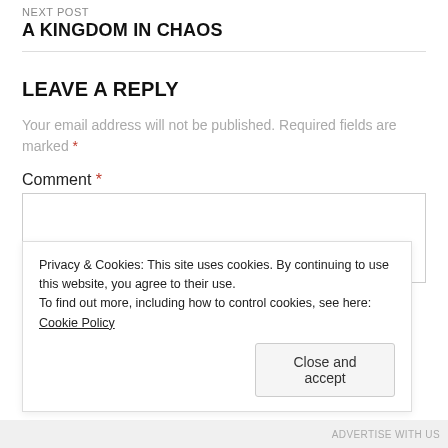NEXT POST
A KINGDOM IN CHAOS
LEAVE A REPLY
Your email address will not be published. Required fields are marked *
Comment *
Privacy & Cookies: This site uses cookies. By continuing to use this website, you agree to their use.
To find out more, including how to control cookies, see here: Cookie Policy